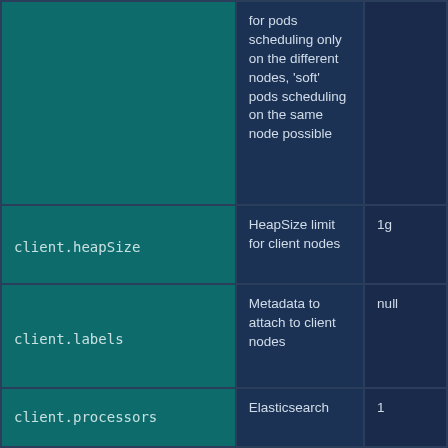| Parameter | Description | Default |
| --- | --- | --- |
|  | for pods scheduling only on the different nodes, 'soft' pods scheduling on the same node possible |  |
| client.heapSize | HeapSize limit for client nodes | 1g |
| client.labels | Metadata to attach to client nodes | null |
| client.processors | Elasticsearch | 1 |